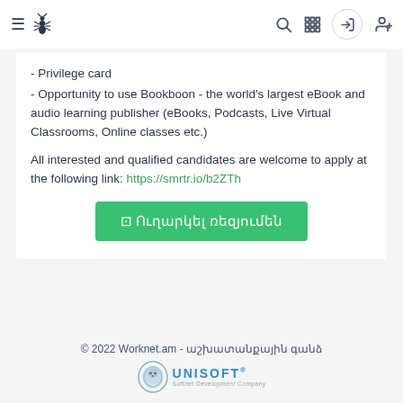Worknet.am navigation bar with hamburger menu, ant logo, search, grid, login, and add user icons
- Privilege card
- Opportunity to use Bookboon - the world's largest eBook and audio learning publisher (eBooks, Podcasts, Live Virtual Classrooms, Online classes etc.)
All interested and qualified candidates are welcome to apply at the following link: https://smrtr.io/b2ZTh
[Figure (other): Green button with Armenian text 'Ուղարկել ռեզյումեն' (Send Resume)]
© 2022 Worknet.am - աշխատանքային գանձ
[Figure (logo): Unisoft logo with lion head emblem and UNISOFT text]